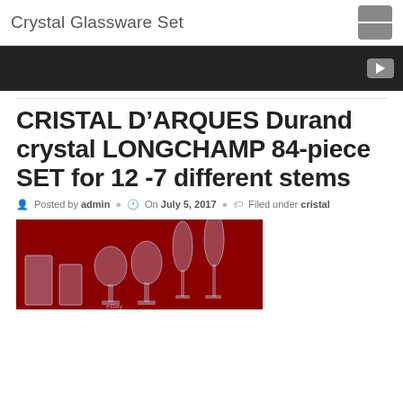Crystal Glassware Set
[Figure (screenshot): Dark video/banner area with a YouTube play button on the right]
CRISTAL D'ARQUES Durand crystal LONGCHAMP 84-piece SET for 12 -7 different stems
Posted by admin  On July 5, 2017  Filed under cristal
[Figure (photo): Photo of crystal glassware set showing multiple stemware pieces of varying heights arranged on a red background, with an eBay watermark visible at the bottom]